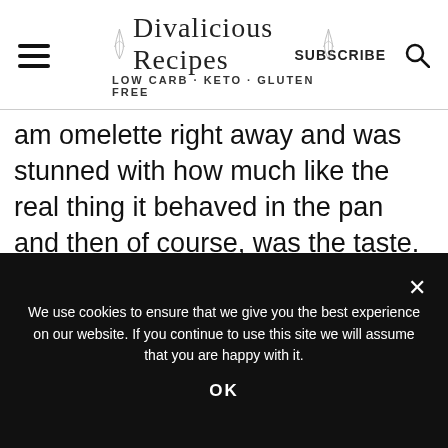Divalicious Recipes — LOW CARB · KETO · GLUTEN FREE | SUBSCRIBE
am omelette right away and was stunned with how much like the real thing it behaved in the pan and then of course, was the taste. I couldn't believe it! I looked at the ingredient list: the main one is extracted protein from mung beans! And while it doesn't work in baking (the
We use cookies to ensure that we give you the best experience on our website. If you continue to use this site we will assume that you are happy with it.
OK